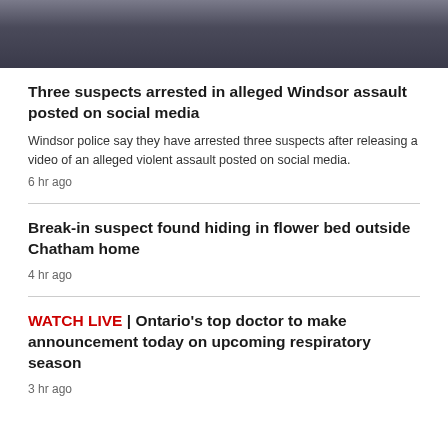[Figure (photo): Cropped photo showing legs and shoes of people, likely from a surveillance or social media video]
Three suspects arrested in alleged Windsor assault posted on social media
Windsor police say they have arrested three suspects after releasing a video of an alleged violent assault posted on social media.
6 hr ago
Break-in suspect found hiding in flower bed outside Chatham home
4 hr ago
WATCH LIVE | Ontario's top doctor to make announcement today on upcoming respiratory season
3 hr ago